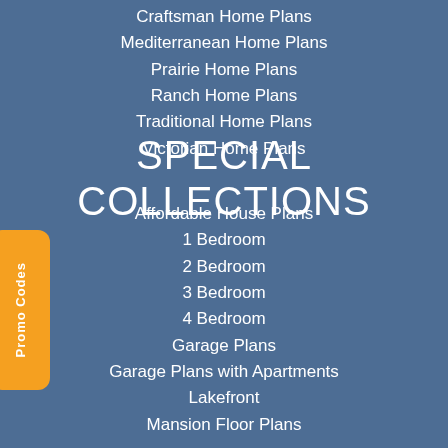Craftsman Home Plans
Mediterranean Home Plans
Prairie Home Plans
Ranch Home Plans
Traditional Home Plans
Victorian Home Plans
SPECIAL COLLECTIONS
Affordable House Plans
1 Bedroom
2 Bedroom
3 Bedroom
4 Bedroom
Garage Plans
Garage Plans with Apartments
Lakefront
Mansion Floor Plans